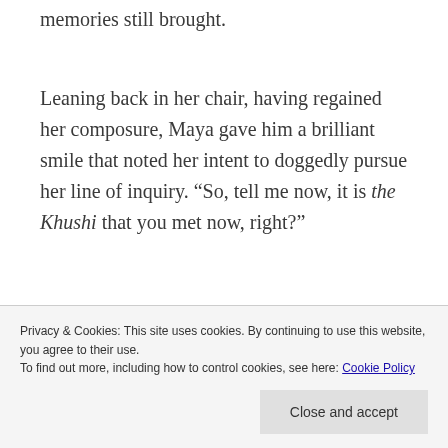memories still brought.
Leaning back in her chair, having regained her composure, Maya gave him a brilliant smile that noted her intent to doggedly pursue her line of inquiry. “So, tell me now, it is the Khushi that you met now, right?”
Privacy & Cookies: This site uses cookies. By continuing to use this website, you agree to their use.
To find out more, including how to control cookies, see here: Cookie Policy
Close and accept
out to Khushi when he was shot? He didn’t